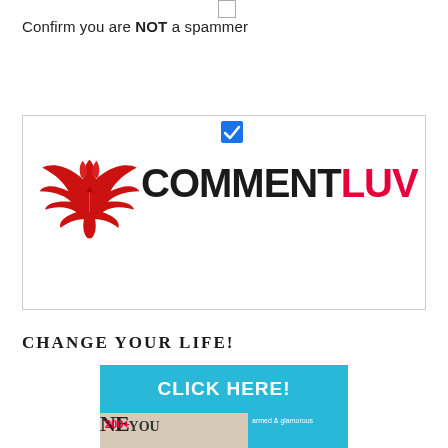Confirm you are NOT a spammer
[Figure (screenshot): CommentLuv logo with red phoenix/wings icon on left and COMMENTLUV text (COMMENT in black, LUV in red) inside a bordered box with a checked blue checkbox at top center]
CHANGE YOUR LIFE!
[Figure (advertisement): Teal/cyan advertisement banner with CLICK HERE! text in white, and below it an image showing a New You magazine cover with a blonde woman and beauty/anti-aging products on the right side]